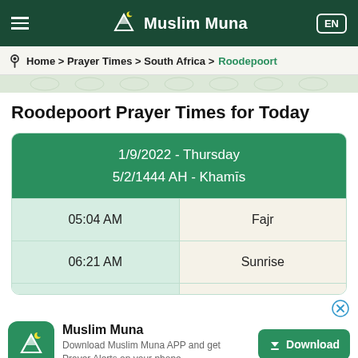Muslim Muna
Home > Prayer Times > South Africa > Roodepoort
Roodepoort Prayer Times for Today
| Time | Prayer |
| --- | --- |
| 1/9/2022 - Thursday 5/2/1444 AH - Khamīs |  |
| 05:04 AM | Fajr |
| 06:21 AM | Sunrise |
Muslim Muna
Download Muslim Muna APP and get Prayer Alerts on your phone.